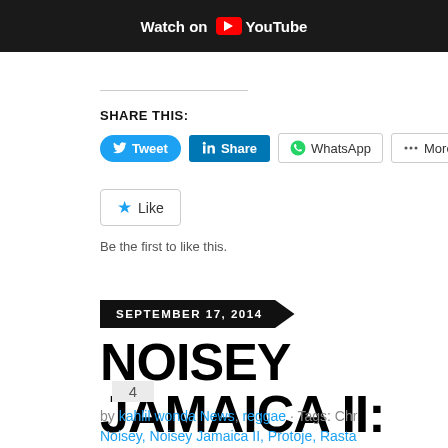[Figure (screenshot): YouTube 'Watch on YouTube' button/banner cropped at top of page]
SHARE THIS:
[Figure (screenshot): Social share buttons: Tweet, Share (LinkedIn), WhatsApp, More]
[Figure (screenshot): Like button with star icon]
Be the first to like this.
SEPTEMBER 17, 2014
NOISEY JAMAICA II: WAL ROYAL, PROTOJE, JAH9,
4
by kahlil wonda News, reggae · Tags: Chr Noisey, Noisey Jamaica II, Protoje, Rasta